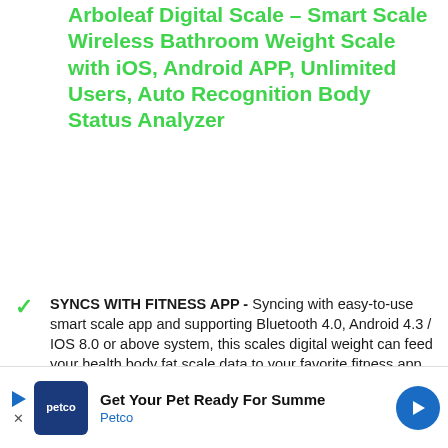Arboleaf Digital Scale – Smart Scale Wireless Bathroom Weight Scale with iOS, Android APP, Unlimited Users, Auto Recognition Body Status Analyzer
SYNCS WITH FITNESS APP - Syncing with easy-to-use smart scale app and supporting Bluetooth 4.0, Android 4.3 / IOS 8.0 or above system, this scales digital weight can feed your health body fat scale data to your favorite fitness app including APPIIE HEALTH, GOOGLE FIT, FITBIT APP – already used by over millions satisfied users
1 STEP, HEALTH STATUS ANALYSIS
[Figure (other): Advertisement banner for Petco: 'Get Your Pet Ready For Summe' with Petco logo and blue navigation arrow icon]